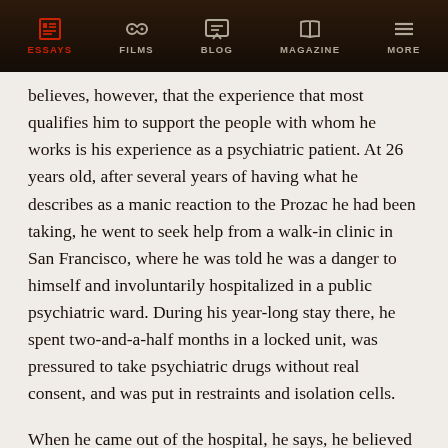ESSAYS  FILMS  BLOG  MAGAZINE  MORE
believes, however, that the experience that most qualifies him to support the people with whom he works is his experience as a psychiatric patient. At 26 years old, after several years of having what he describes as a manic reaction to the Prozac he had been taking, he went to seek help from a walk-in clinic in San Francisco, where he was told he was a danger to himself and involuntarily hospitalized in a public psychiatric ward. During his year-long stay there, he spent two-and-a-half months in a locked unit, was pressured to take psychiatric drugs without real consent, and was put in restraints and isolation cells.
When he came out of the hospital, he says, he believed everything that had happened to him was justified and in his best interest, until he began to do his own research. When he found the psychiatric survivors movement, he learned about the long history of people pushing back